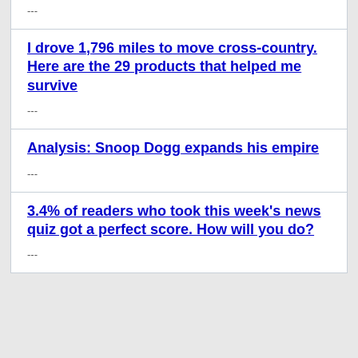---
I drove 1,796 miles to move cross-country. Here are the 29 products that helped me survive
---
Analysis: Snoop Dogg expands his empire
---
3.4% of readers who took this week's news quiz got a perfect score. How will you do?
---